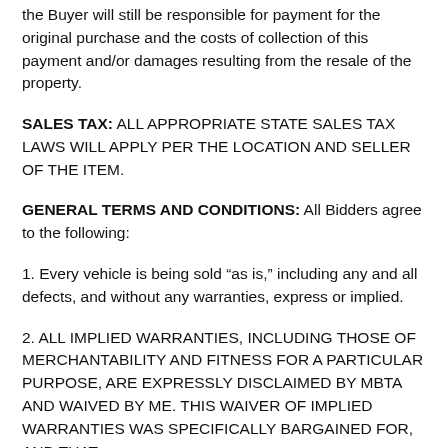the Buyer will still be responsible for payment for the original purchase and the costs of collection of this payment and/or damages resulting from the resale of the property.
SALES TAX: ALL APPROPRIATE STATE SALES TAX LAWS WILL APPLY PER THE LOCATION AND SELLER OF THE ITEM.
GENERAL TERMS AND CONDITIONS: All Bidders agree to the following:
1. Every vehicle is being sold “as is,” including any and all defects, and without any warranties, express or implied.
2. ALL IMPLIED WARRANTIES, INCLUDING THOSE OF MERCHANTABILITY AND FITNESS FOR A PARTICULAR PURPOSE, ARE EXPRESSLY DISCLAIMED BY MBTA AND WAIVED BY ME. THIS WAIVER OF IMPLIED WARRANTIES WAS SPECIFICALLY BARGAINED FOR, AND THAT